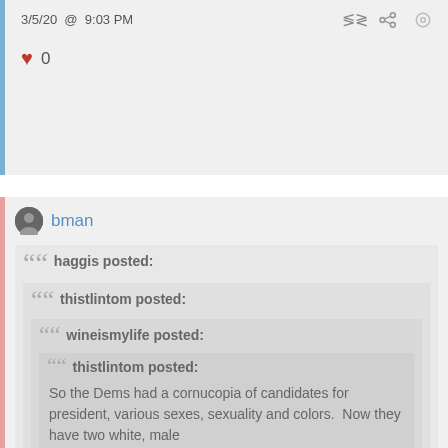3/5/20 @ 9:03 PM
♥ 0
bman
haggis posted:
thistlintom posted:
wineismylife posted:
thistlintom posted: So the Dems had a cornucopia of candidates for president, various sexes, sexuality and colors.  Now they have two white, male